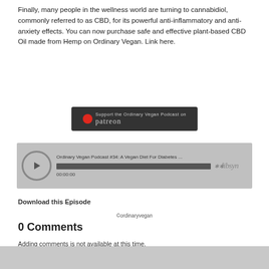Finally, many people in the wellness world are turning to cannabidiol, commonly referred to as CBD, for its powerful anti-inflammatory and anti-anxiety effects. You can now purchase safe and effective plant-based CBD Oil made from Hemp on Ordinary Vegan. Link here.
[Figure (other): Patreon support button: dark background with Patreon logo (red circle) and text 'Support the Ordinary Vegan Podcast on patreon']
[Figure (other): Libsyn audio player widget showing 'Ordinary Vegan Podcast #34: A Vegan Diet For Diabetes ...' with play button, progress bar at 00:00:00, and Libsyn logo]
Download this Episode
0 Comments
Adding comments is not available at this time.
©ordinaryvegan